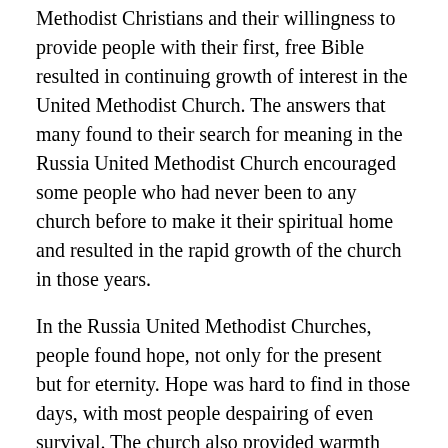Methodist Christians and their willingness to provide people with their first, free Bible resulted in continuing growth of interest in the United Methodist Church. The answers that many found to their search for meaning in the Russia United Methodist Church encouraged some people who had never been to any church before to make it their spiritual home and resulted in the rapid growth of the church in those years.
In the Russia United Methodist Churches, people found hope, not only for the present but for eternity. Hope was hard to find in those days, with most people despairing of even survival. The church also provided warmth and fellowship. At that time, when it was difficult to know whom to trust and what to believe, the openness and joy of United Methodist Christians in Russia was a welcome change.
American and Korean United Methodist Missionaries also found an eager response to their presence in Eurasia, as